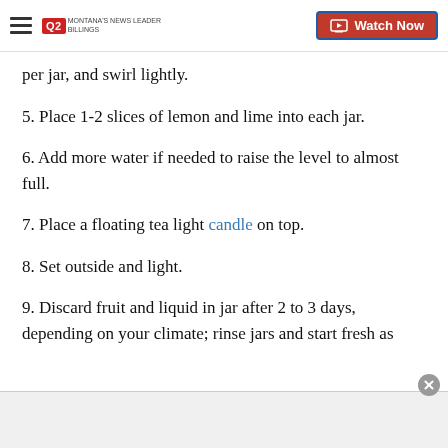Q2 MONTANA'S NEWS LEADER | Watch Now
per jar, and swirl lightly.
5. Place 1-2 slices of lemon and lime into each jar.
6. Add more water if needed to raise the level to almost full.
7. Place a floating tea light candle on top.
8. Set outside and light.
9. Discard fruit and liquid in jar after 2 to 3 days, depending on your climate; rinse jars and start fresh as